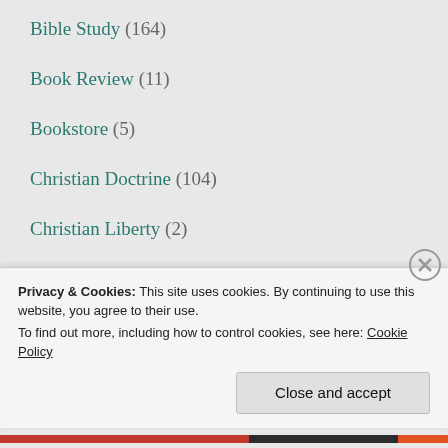Bible Study (164)
Book Review (11)
Bookstore (5)
Christian Doctrine (104)
Christian Liberty (2)
Church History (4)
Privacy & Cookies: This site uses cookies. By continuing to use this website, you agree to their use.
To find out more, including how to control cookies, see here: Cookie Policy
Close and accept